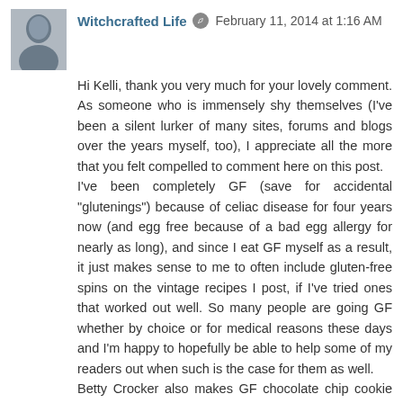Witchcrafted Life  February 11, 2014 at 1:16 AM
Hi Kelli, thank you very much for your lovely comment. As someone who is immensely shy themselves (I've been a silent lurker of many sites, forums and blogs over the years myself, too), I appreciate all the more that you felt compelled to comment here on this post.
I've been completely GF (save for accidental "glutenings") because of celiac disease for four years now (and egg free because of a bad egg allergy for nearly as long), and since I eat GF myself as a result, it just makes sense to me to often include gluten-free spins on the vintage recipes I post, if I've tried ones that worked out well. So many people are going GF whether by choice or for medical reasons these days and I'm happy to hopefully be able to help some of my readers out when such is the case for them as well.
Betty Crocker also makes GF chocolate chip cookie and brownie mixes, both of which are delicious as well (amongst the best GF mixes I've ever tried).
If I can ever be of help to you with any specific GF related